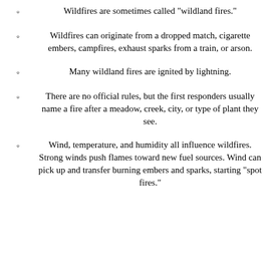Wildfires are sometimes called "wildland fires."
Wildfires can originate from a dropped match, cigarette embers, campfires, exhaust sparks from a train, or arson.
Many wildland fires are ignited by lightning.
There are no official rules, but the first responders usually name a fire after a meadow, creek, city, or type of plant they see.
Wind, temperature, and humidity all influence wildfires. Strong winds push flames toward new fuel sources. Wind can pick up and transfer burning embers and sparks, starting "spot fires."